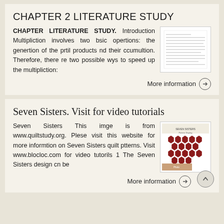CHAPTER 2 LITERATURE STUDY
CHAPTER LITERATURE STUDY. Introduction Multipliction involves two bsic opertions: the genertion of the prtil products nd their ccumultion. Therefore, there re two possible wys to speed up the multipliction:
[Figure (illustration): Thumbnail of a text document page with lines of text]
More information →
Seven Sisters. Visit for video tutorials
Seven Sisters This imge is from www.quiltstudy.org. Plese visit this website for more informtion on Seven Sisters quilt ptterns. Visit www.blocloc.com for video tutorils 1 The Seven Sisters design cn be
[Figure (photo): Thumbnail showing Seven Sisters quilt pattern - red/maroon hexagonal flower patterns on white background]
More information →